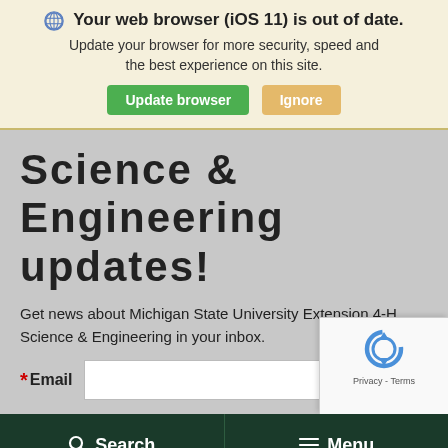Your web browser (iOS 11) is out of date. Update your browser for more security, speed and the best experience on this site. [Update browser] [Ignore]
Science & Engineering updates!
Get news about Michigan State University Extension 4-H Science & Engineering in your inbox.
* Email [input field]
[Figure (other): Google reCAPTCHA widget overlay showing the reCAPTCHA logo (rotating arrows in blue) and Privacy - Terms links]
Search  Menu